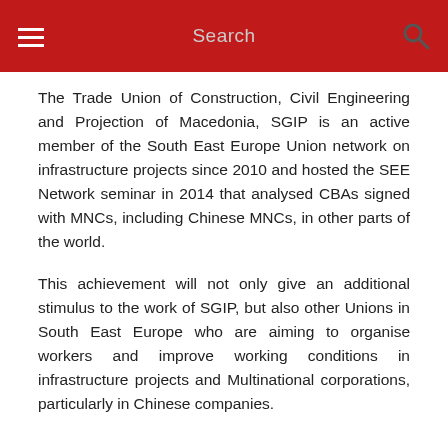Search
The Trade Union of Construction, Civil Engineering and Projection of Macedonia, SGIP is an active member of the South East Europe Union network on infrastructure projects since 2010 and hosted the SEE Network seminar in 2014 that analysed CBAs signed with MNCs, including Chinese MNCs, in other parts of the world.
This achievement will not only give an additional stimulus to the work of SGIP, but also other Unions in South East Europe who are aiming to organise workers and improve working conditions in infrastructure projects and Multinational corporations, particularly in Chinese companies.
[Figure (infographic): Social sharing icons: Facebook, Twitter, Telegram, Print]
◄ Back to News